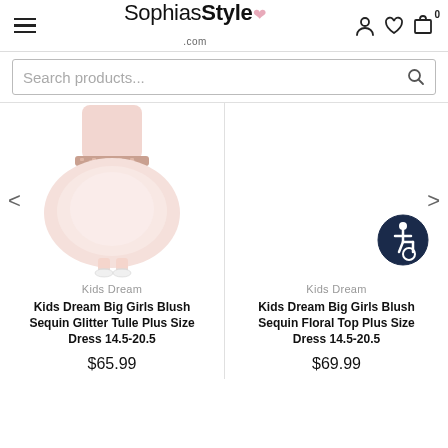SophiasStyle.com — navigation header with hamburger menu and icons
Search products...
[Figure (photo): Girl wearing a blush pink sequin glitter tulle plus size dress, full skirt, white shoes]
Kids Dream
Kids Dream Big Girls Blush Sequin Glitter Tulle Plus Size Dress 14.5-20.5
$65.99
[Figure (other): White/empty product image area with accessibility icon (wheelchair user in circle) at bottom right]
Kids Dream
Kids Dream Big Girls Blush Sequin Floral Top Plus Size Dress 14.5-20.5
$69.99